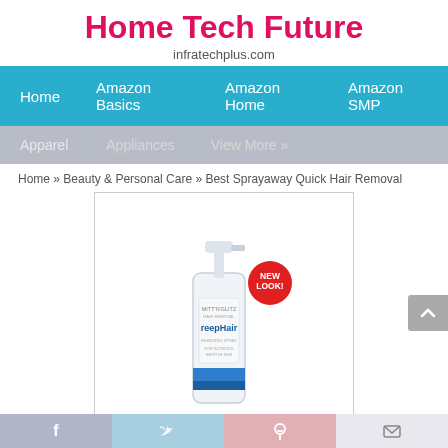Home Tech Future
infratechplus.com
Home | Amazon Basics | Amazon Home | Amazon SMP
Apparel | Appliances | View More »
Home » Beauty & Personal Care » Best Sprayaway Quick Hair Removal
[Figure (photo): A white spray bottle product with blue label band, labeled 'reepHair', with a red circular badge saying 'NEW LOOK!']
Best Sprayaway Quick Hair